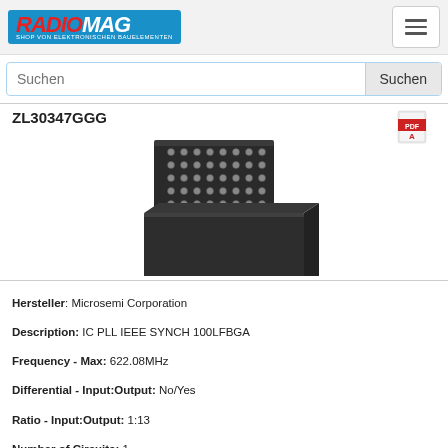RADIOMAG - SHOP VON ELEKTRONISCHEN BAUELEMENTEN
ZL30347GGG
[Figure (photo): IC chip ZL30347GGG shown from two angles: top view showing BGA ball grid array and side/bottom view showing the chip package body]
Hersteller: Microsemi Corporation
Description: IC PLL IEEE SYNCH 100LFBGA
Frequency - Max: 622.08MHz
Differential - Input:Output: No/Yes
Ratio - Input:Output: 1:13
Number of Circuits: 1
Output: Clock
Input: Clock
Main Purpose: Ethernet, SONET/SDH